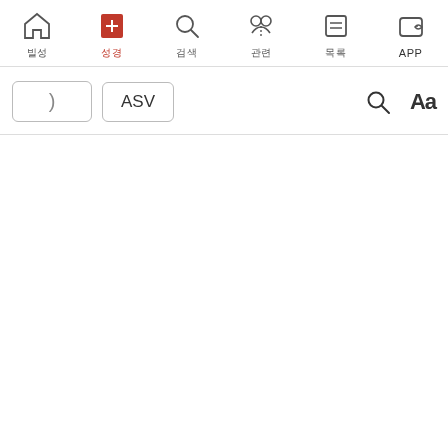[Figure (screenshot): Mobile app navigation bar with six icons: home, Bible (active/red), search, cross-reference, list/menu, and APP (fish icon). Labels below each icon in Korean characters except APP.]
[Figure (screenshot): Toolbar with a bracket button, ASV version selector button, search icon, and Aa font size button.]